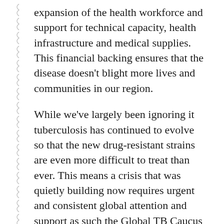expansion of the health workforce and support for technical capacity, health infrastructure and medical supplies. This financial backing ensures that the disease doesn't blight more lives and communities in our region.
While we've largely been ignoring it tuberculosis has continued to evolve so that the new drug-resistant strains are even more difficult to treat than ever. This means a crisis that was quietly building now requires urgent and consistent global attention and support as such the Global TB Caucus are working to bring greater focus to tuberculosis at the upcoming G20 summit.
Eradication of tuberculosis isn't about making one simple change in communities or one pill. It requires a consistent, well-funded, multi-faceted approach and ideas from across the globe to turn the tide on this epidemic which is why our gathering this week is so important. When fighting a disease that doesn't respect borders we need to come together to share the